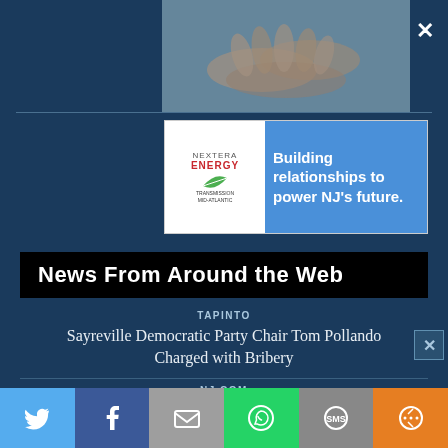[Figure (photo): Close-up photo of hands (cupped hands holding something), soft blue-gray tones]
[Figure (other): NextEra Energy advertisement: 'Building relationships to power NJ's future.']
News From Around the Web
TAPINTO
Sayreville Democratic Party Chair Tom Pollando Charged with Bribery
NJ.COM
State launches new website to help N.J. residents to recover from future disasters like Ida
NEW JERSEY MONITOR